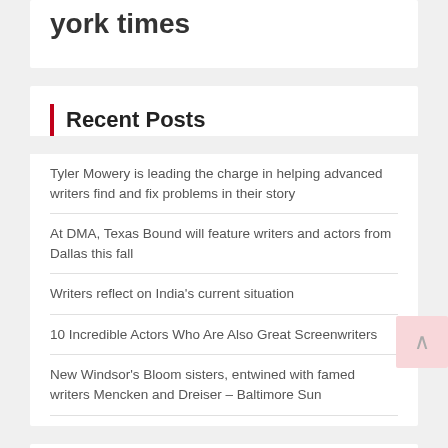york times
Recent Posts
Tyler Mowery is leading the charge in helping advanced writers find and fix problems in their story
At DMA, Texas Bound will feature writers and actors from Dallas this fall
Writers reflect on India's current situation
10 Incredible Actors Who Are Also Great Screenwriters
New Windsor's Bloom sisters, entwined with famed writers Mencken and Dreiser – Baltimore Sun
Archives